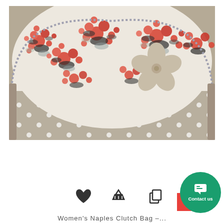[Figure (photo): A women's floral clutch bag (Naples Clutch Bag). The bag has a flap with a bold red, black, and white floral fabric print, trimmed with a small checked border. A large taupe fabric flower embellishment sits on the right side of the flap. The body of the bag is taupe with white polka dots.]
[Figure (infographic): Three icon buttons in a row: a heart icon (wishlist/favourite), a shopping basket icon, and a copy/duplicate icon. Below/to the right is a green circular contact button with a chat icon labeled 'Contact us', and a partial red square shape visible behind it.]
Women's Naples Clutch Bag –...